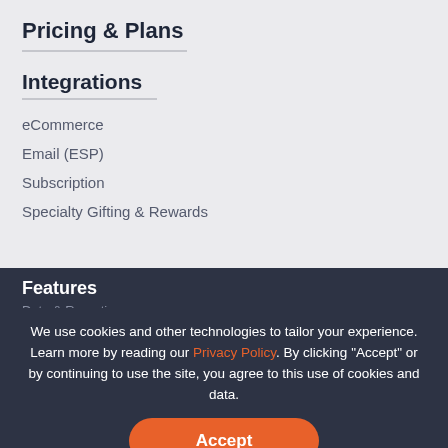Pricing & Plans
Integrations
eCommerce
Email (ESP)
Subscription
Specialty Gifting & Rewards
Features
Data & Reporting
Segmentation
Data Privacy
We use cookies and other technologies to tailor your experience. Learn more by reading our Privacy Policy. By clicking “Accept” or by continuing to use the site, you agree to this use of cookies and data.